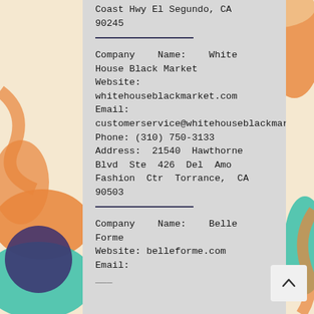Coast Hwy El Segundo, CA 90245
Company Name: White House Black Market Website: whitehouseblackmarket.com Email: customerservice@whitehouseblackmarket.com Phone: (310) 750-3133 Address: 21540 Hawthorne Blvd Ste 426 Del Amo Fashion Ctr Torrance, CA 90503
Company Name: Belle Forme Website: belleforme.com Email: